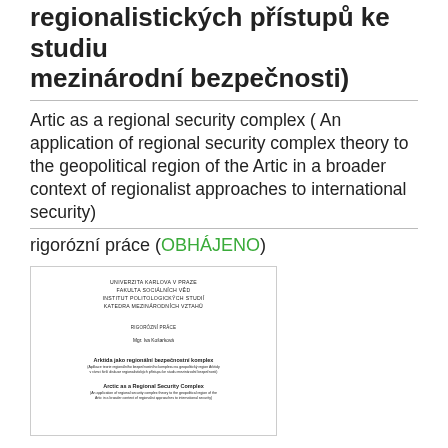regionalistických přístupů ke studiu mezinárodní bezpečnosti)
Artic as a regional security complex ( An application of regional security complex theory to the geopolitical region of the Artic in a broader context of regionalist approaches to international security)
rigorózní práce (OBHÁJENO)
[Figure (other): Cover page of the thesis showing: UNIVERZITA KARLOVA V PRAZE, FAKULTA SOCIÁLNÍCH VĚD, INSTITUT POLITOLOGICKÝCH STUDIÍ, KATEDRA MEZINÁRODNÍCH VZTAHŮ, RIGORÓZNÍ PRÁCE, Mgr. Iva Košarková, Arktida jako regionální bezpečnostní komplex (subtitle in Czech), Arctic as a Regional Security Complex (subtitle in English)]